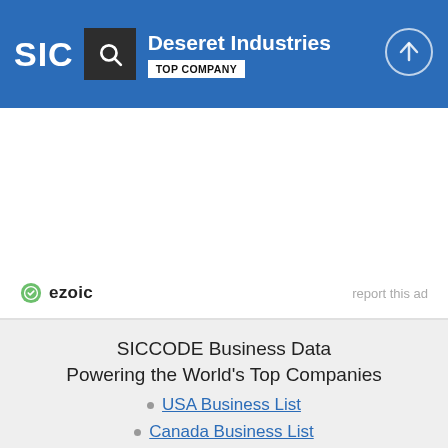Deseret Industries TOP COMPANY
[Figure (logo): SIC logo with search icon and Deseret Industries company header with TOP COMPANY badge and up-arrow circle button]
ezoic   report this ad
SICCODE Business Data Powering the World's Top Companies
USA Business List
Canada Business List
Data Append Services